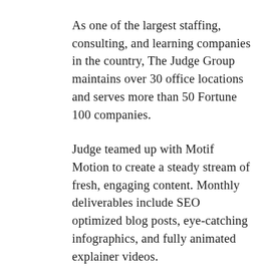As one of the largest staffing, consulting, and learning companies in the country, The Judge Group maintains over 30 office locations and serves more than 50 Fortune 100 companies.
Judge teamed up with Motif Motion to create a steady stream of fresh, engaging content. Monthly deliverables include SEO optimized blog posts, eye-catching infographics, and fully animated explainer videos.